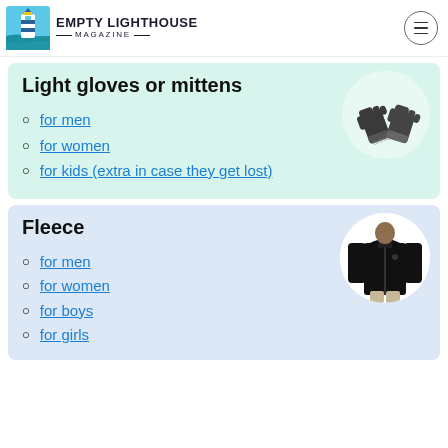EMPTY LIGHTHOUSE MAGAZINE
Light gloves or mittens
[Figure (photo): Dark grey knit gloves crossed over each other]
for men
for women
for kids (extra in case they get lost)
Fleece
[Figure (photo): Man wearing a black zip-up fleece jacket]
for men
for women
for boys
for girls